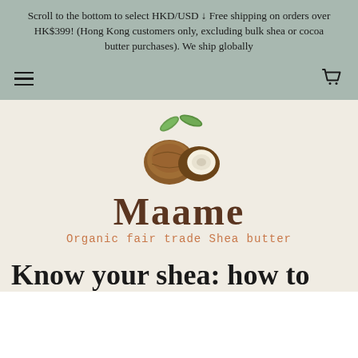Scroll to the bottom to select HKD/USD ↓ Free shipping on orders over HK$399! (Hong Kong customers only, excluding bulk shea or cocoa butter purchases). We ship globally
[Figure (logo): Maame Organic fair trade Shea butter logo — two shea nuts (one whole brown, one halved showing white interior) with green leaves above, and the brand name 'Maame' in large brown serif/handwritten font below, with tagline 'Organic fair trade Shea butter' in terracotta/salmon colored text]
Know your shea: how to